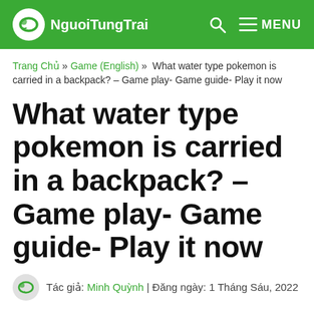NguoiTungTrai — MENU
Trang Chủ » Game (English) » What water type pokemon is carried in a backpack? – Game play- Game guide- Play it now
What water type pokemon is carried in a backpack? – Game play- Game guide- Play it now
Tác giả: Minh Quỳnh | Đăng ngày: 1 Tháng Sáu, 2022